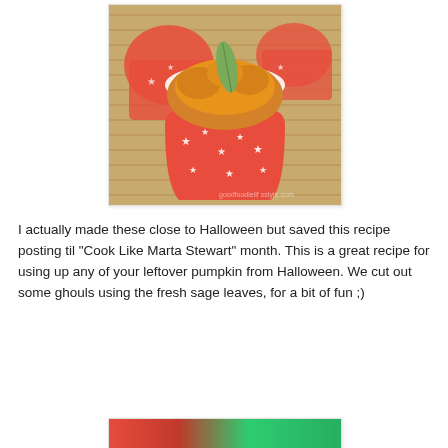[Figure (photo): A pumpkin muffin in a red polka-dot star-patterned cupcake wrapper, with a sage leaf on top, on a wooden surface. Additional red cupcake wrappers visible in the background.]
I actually made these close to Halloween but saved this recipe posting til "Cook Like Marta Stewart" month. This is a great recipe for using up any of your leftover pumpkin from Halloween. We cut out some ghouls using the fresh sage leaves, for a bit of fun ;)
[Figure (photo): Partial view of another food photo at the bottom of the page, showing red and green colors.]